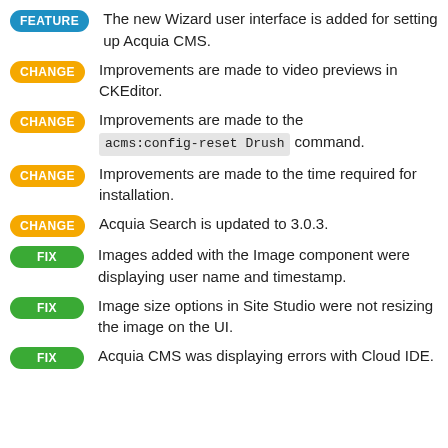FEATURE: The new Wizard user interface is added for setting up Acquia CMS.
CHANGE: Improvements are made to video previews in CKEditor.
CHANGE: Improvements are made to the acms:config-reset Drush command.
CHANGE: Improvements are made to the time required for installation.
CHANGE: Acquia Search is updated to 3.0.3.
FIX: Images added with the Image component were displaying user name and timestamp.
FIX: Image size options in Site Studio were not resizing the image on the UI.
FIX: Acquia CMS was displaying errors with Cloud IDE.